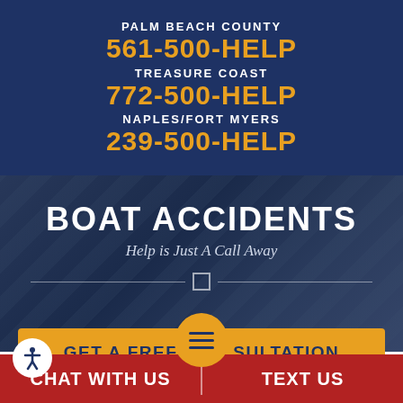PALM BEACH COUNTY
561-500-HELP
TREASURE COAST
772-500-HELP
NAPLES/FORT MYERS
239-500-HELP
BOAT ACCIDENTS
Help is Just A Call Away
GET A FREE CONSULTATION
CHAT WITH US
TEXT US